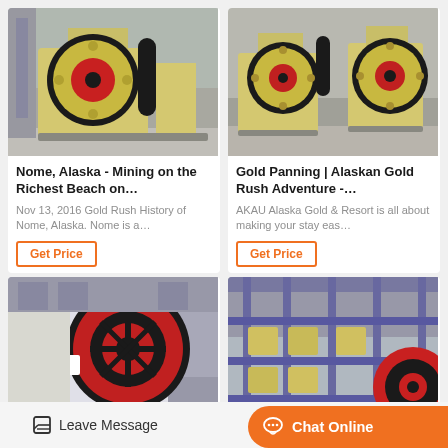[Figure (photo): Industrial jaw crusher machine in a factory setting, yellow and black with red flywheel]
Nome, Alaska - Mining on the Richest Beach on…
Nov 13, 2016 Gold Rush History of Nome, Alaska. Nome is a…
Get Price
[Figure (photo): Industrial jaw crushers machines in a factory setting, yellow with red and black flywheels]
Gold Panning | Alaskan Gold Rush Adventure -…
AKAU Alaska Gold & Resort is all about making your stay eas…
Get Price
[Figure (photo): Industrial crusher with large red and black flywheel in factory]
[Figure (photo): Industrial machinery in factory warehouse]
Leave Message
Chat Online